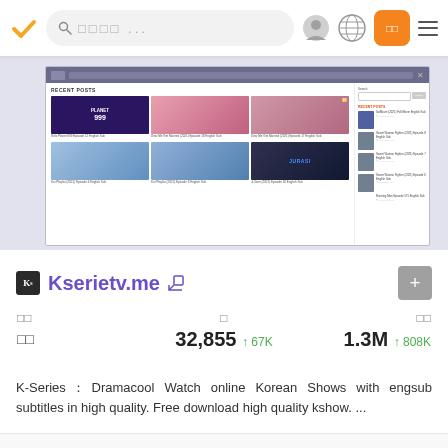Search bar with query placeholder text
[Figure (screenshot): Screenshot of Kserietv.me website showing Recent Posts section with thumbnails of Korean dramas including Girls Planet 999, Dear Me Get Married (2021), Koi Playlist (2021), Ji-Gam (2021), and sidebar with recent posts including Steel Woman Fighter and Running Man episodes]
Kserietv.me
| 순위 | 방문 | 순방문 |
| --- | --- | --- |
| 순위 | 32,855 ↑67K | 1.3M ↑808K |
K-Series：Dramacool Watch online Korean Shows with engsub subtitles in high quality. Free download high quality kshow. ...